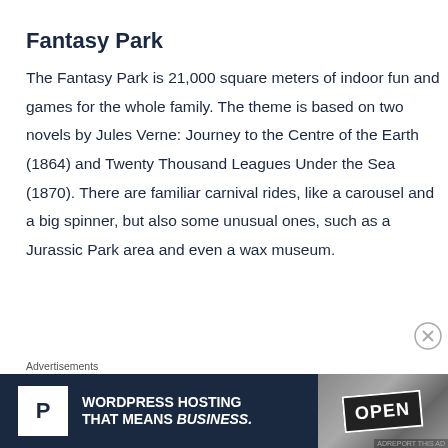Fantasy Park
The Fantasy Park is 21,000 square meters of indoor fun and games for the whole family. The theme is based on two novels by Jules Verne: Journey to the Centre of the Earth (1864) and Twenty Thousand Leagues Under the Sea (1870). There are familiar carnival rides, like a carousel and a big spinner, but also some unusual ones, such as a Jurassic Park area and even a wax museum.
[Figure (other): Advertisement banner: WordPress Hosting That Means Business with P logo on left and OPEN sign photo on right]
Advertisements